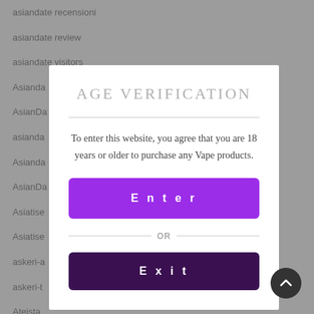asiandate recensioni
asiandate review
asiandate visitors
Asianda
AsianDa
asianda
Asianda
AsianDa
Asiatise
Asiatise
askeri-a
askeri-t
Ateista
Atheist
AGE VERIFICATION
To enter this website, you agree that you are 18 years or older to purchase any Vape products.
Enter
OR
Exit